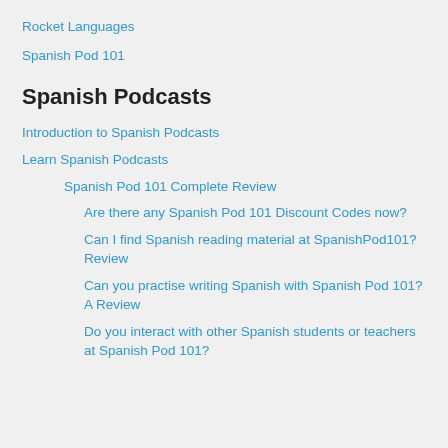Rocket Languages
Spanish Pod 101
Spanish Podcasts
Introduction to Spanish Podcasts
Learn Spanish Podcasts
Spanish Pod 101 Complete Review
Are there any Spanish Pod 101 Discount Codes now?
Can I find Spanish reading material at SpanishPod101? Review
Can you practise writing Spanish with Spanish Pod 101? A Review
Do you interact with other Spanish students or teachers at Spanish Pod 101?